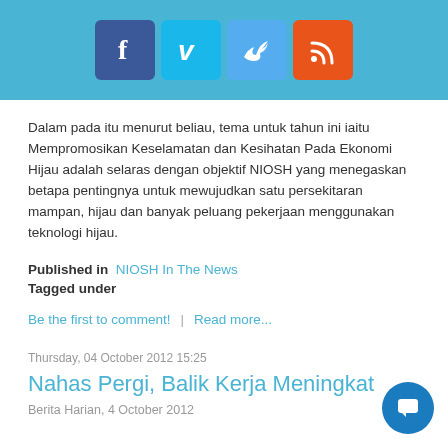[Figure (other): Social media icons bar: Facebook (blue), Vimeo (teal), Twitter (light blue), RSS (orange) on a light blue background]
Dalam pada itu menurut beliau, tema untuk tahun ini iaitu Mempromosikan Keselamatan dan Kesihatan Pada Ekonomi Hijau adalah selaras dengan objektif NIOSH yang menegaskan betapa pentingnya untuk mewujudkan satu persekitaran mampan, hijau dan banyak peluang pekerjaan menggunakan teknologi hijau.
Published in  NIOSH In The News
Tagged under
Be the first to comment!   |   Read more...
Thursday, 04 October 2012 15:25
Nahas Pergi, Balik Kerja Meningkat
Berita Harian, 4 October 2012